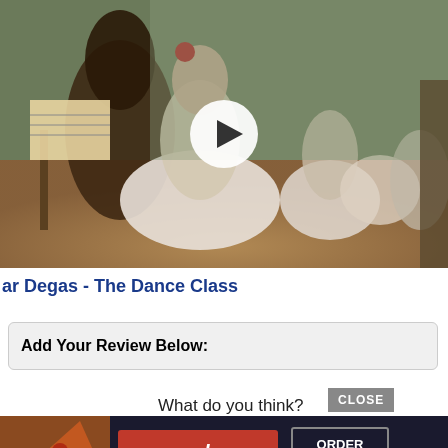[Figure (photo): A video thumbnail showing Edgar Degas painting 'The Dance Class' depicting ballerinas in white tutus in a dance studio, with a white circular play button overlay in the center]
ar Degas - The Dance Class
Add Your Review Below:
What do you think?
[Figure (screenshot): Advertisement banner for Seamless food delivery with pizza image on left, red Seamless logo badge in center, and ORDER NOW button on right, on dark background]